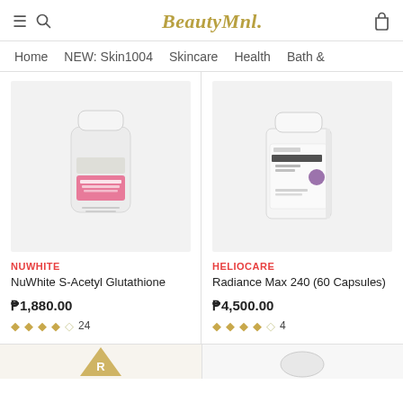BeautyMnl.
Home  NEW: Skin1004  Skincare  Health  Bath &
[Figure (photo): NuWhite supplement bottle with pink label on grey background]
NUWHITE
NuWhite S-Acetyl Glutathione
₱1,880.00
4 stars, 24 reviews
[Figure (photo): Heliocare white supplement bottle with purple label on grey background]
HELIOCARE
Radiance Max 240 (60 Capsules)
₱4,500.00
4 stars, 4 reviews